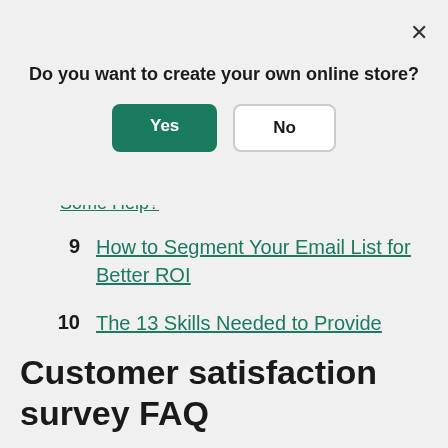Do you want to create your own online store?
Yes
No
Some Help? (partially visible, truncated)
9  How to Segment Your Email List for Better ROI
10  The 13 Skills Needed to Provide Memorable Customer Support
Customer satisfaction survey FAQ